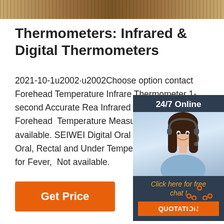[Figure (photo): Top banner image showing wooden/wicker texture background in brown tones]
Thermometers: Infrared & Digital Thermometers
2021-10-1u2002·u2002Choose options contact Forehead Temperature Infrared Thermometer 1-second Accurate Reading Infrared Thermometer High Forehead Temperature Measurement LCD Digital available. SEIWEI Digital Oral Thermometer Kid and Adult, Oral, Rectal and Underarm Temperature Measurement for Fever, Not available.
[Figure (infographic): Chat widget with '24/7 Online' header, photo of woman with headset, 'Click here for free chat!' link, and orange QUOTATION button]
[Figure (other): Orange 'Get Price' button]
[Figure (other): Orange TOP navigation button with dots above text]